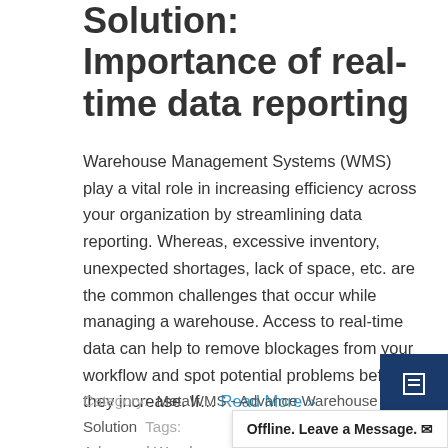Solution: Importance of real-time data reporting
Warehouse Management Systems (WMS) play a vital role in increasing efficiency across your organization by streamlining data reporting. Whereas, excessive inventory, unexpected shortages, lack of space, etc. are the common challenges that occur while managing a warehouse. Access to real-time data can help to remove blockages from your workflow and spot potential problems before they increase. If… Read More »
Category: MetaWMS - Advance Warehouse Solution Tags: Advanced Warehouse Management , Advanced Warehouse Solution , Advanced Warehouse technology , Business Intelligence , Business Process Automation , Data Reporting , ERP Cloud Services , ERP for SMB , ERP Software , ERP Solution , Inventory Management , LifeHacks365 , Microsoft Dynamic